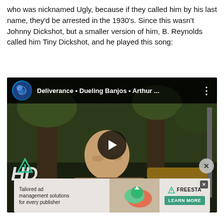who was nicknamed Ugly, because if they called him by his last name, they'd be arrested in the 1930's. Since this wasn't Johnny Dickshot, but a smaller version of him, B. Reynolds called him Tiny Dickshot, and he played this song:
[Figure (screenshot): Embedded YouTube video player showing a boy playing banjo from the movie Deliverance. Title bar shows 'Deliverance • Dueling Banjos • Arthur ...' with a YouTube-style icon. HD badge shown in bottom left. Play button in center. Advertisement banner at bottom for Freesta ad management solutions.]